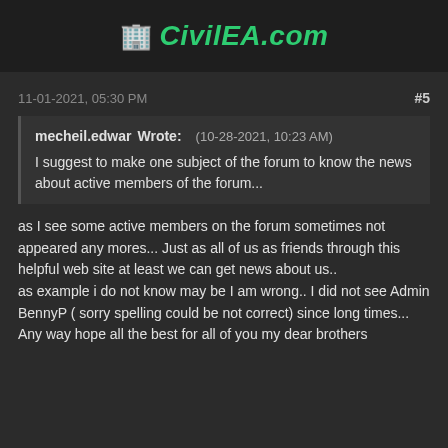CivilEA.com
11-01-2021, 05:30 PM
#5
mecheil.edwar Wrote: (10-28-2021, 10:23 AM)
I suggest to make one subject of the forum to know the news about active members of the forum...
as I see some active members on the forum sometimes not appeared any mores... Just as all of us as friends through this helpful web site at least we can get news about us..
as example i do not know may be I am wrong.. I did not see Admin BennyP ( sorry spelling could be not correct) since long times...
Any way hope all the best for all of you my dear brothers